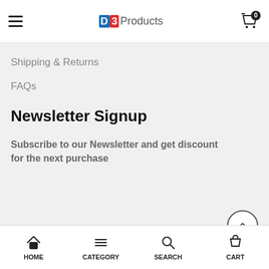D3 Products — navigation header with hamburger menu and cart (0 items)
Shipping & Returns
FAQs
Newsletter Signup
Subscribe to our Newsletter and get discount for the next purchase
HOME   CATEGORY   SEARCH   CART